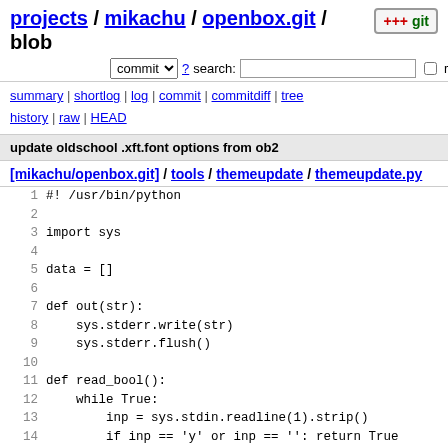projects / mikachu / openbox.git / blob
commit ? search: re
summary | shortlog | log | commit | commitdiff | tree history | raw | HEAD
update oldschool .xft.font options from ob2
[mikachu/openbox.git] / tools / themeupdate / themeupdate.py
1  #! /usr/bin/python
2
3  import sys
4
5  data = []
6
7  def out(str):
8      sys.stderr.write(str)
9      sys.stderr.flush()
10
11  def read_bool():
12      while True:
13          inp = sys.stdin.readline(1).strip()
14          if inp == 'y' or inp == '': return True
15          if inp == 'n': return False
16
17  def getkeyval(line):
18      key = line[:line.find(':')].strip()
19      value = line[line.find(':') + 1:].strip()